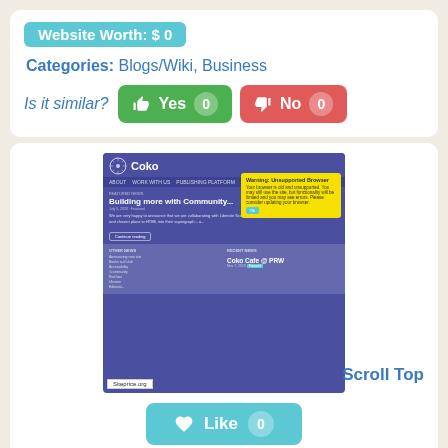Website Worth: $ 0
Categories: Blogs/Wiki, Business
Is it similar?  Yes 0  No 0
[Figure (screenshot): Screenshot of coko.foundation website with unsupported browser warning dialog, showing navigation, featured news section 'Building more with Community', and recent news sidebar. Siteprice.org watermark visible.]
Scroll Top
Like 0
coko.foundation